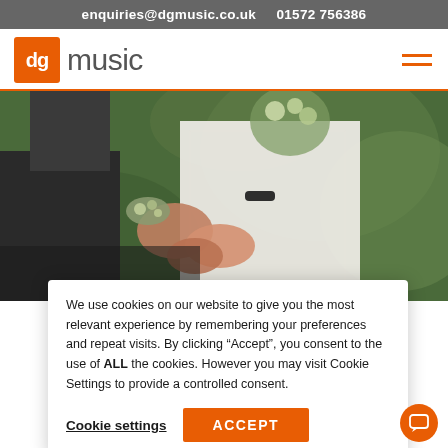enquiries@dgmusic.co.uk    01572 756386
[Figure (logo): dg music logo — orange square with 'dg' in white, followed by 'music' in grey text]
[Figure (photo): Wedding couple holding hands outdoors — bride in white lace dress with floral wristband, groom in dark suit, green bokeh background]
We use cookies on our website to give you the most relevant experience by remembering your preferences and repeat visits. By clicking "Accept", you consent to the use of ALL the cookies. However you may visit Cookie Settings to provide a controlled consent.
Cookie settings    ACCEPT